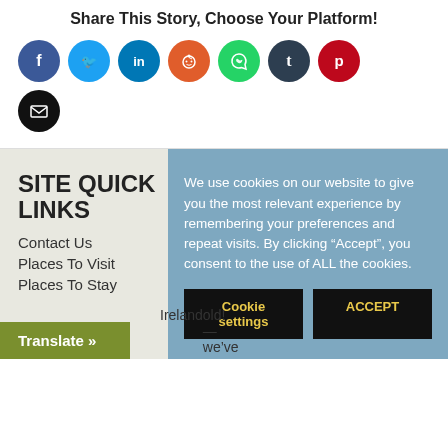Share This Story, Choose Your Platform!
[Figure (illustration): Row of social media share buttons: Facebook (dark blue), Twitter (light blue), LinkedIn (teal), Reddit (orange), WhatsApp (green), Tumblr (dark navy), Pinterest (red), and Email (black) — all circular icon buttons]
SITE QUICK LINKS
Contact Us
Places To Visit
Places To Stay
We use cookies on our website to give you the most relevant experience by remembering your preferences and repeat visits. By clicking “Accept”, you consent to the use of ALL the cookies.
Cookie settings   ACCEPT
Translate »
Ireland   old!—we’ve